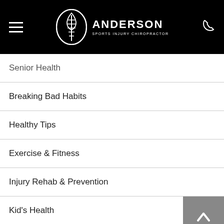Anderson Sports Injury Chiropractor
Senior Health
Breaking Bad Habits
Healthy Tips
Exercise & Fitness
Injury Rehab & Prevention
Kid's Health
Illness Prevention
Chronic Conditions